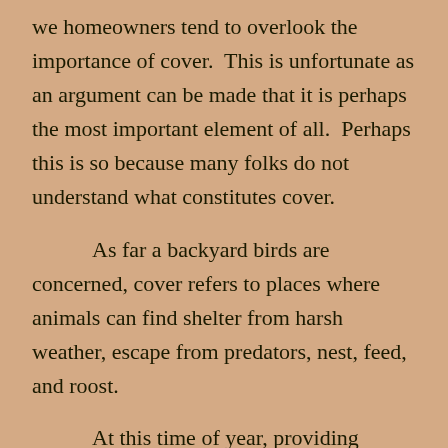we homeowners tend to overlook the importance of cover.  This is unfortunate as an argument can be made that it is perhaps the most important element of all.  Perhaps this is so because many folks do not understand what constitutes cover.

        As far a backyard birds are concerned, cover refers to places where animals can find shelter from harsh weather, escape from predators, nest, feed, and roost.

        At this time of year, providing backyard birds with winter cover is extremely important.